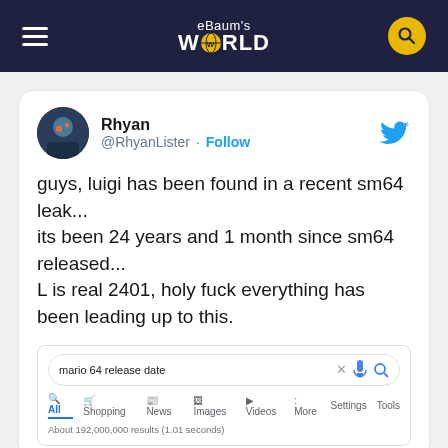eBaum's WORLD
[Figure (screenshot): Tweet from @RhyanLister saying: guys, luigi has been found in a recent sm64 leak... its been 24 years and 1 month since sm64 released... L is real 2401, holy fuck everything has been leading up to this. Includes an embedded Google search screenshot for 'mario 64 release date'.]
[Figure (screenshot): Bloomingdale's advertisement banner: 'bloomingdales / View Today's Top Deals!' with SHOP NOW > button]